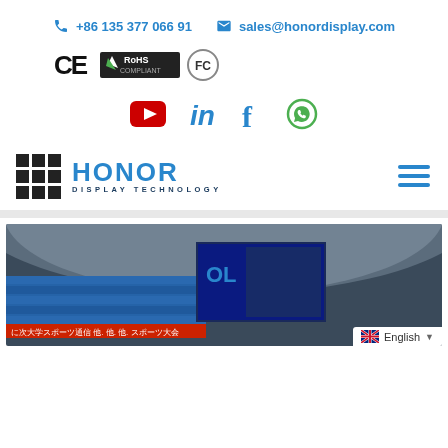+86 135 377 066 91   sales@honordisplay.com
[Figure (logo): CE, RoHS Compliant, and FCC certification badges]
[Figure (logo): Social media icons: YouTube, LinkedIn, Facebook, WhatsApp]
[Figure (logo): Honor Display Technology logo with grid icon and hamburger menu]
[Figure (photo): Stadium interior with large LED display showing sports content, with English language selector overlay]